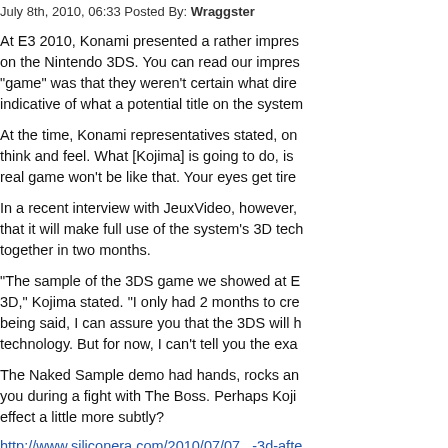July 8th, 2010, 06:33 Posted By: Wraggster
At E3 2010, Konami presented a rather impres... on the Nintendo 3DS. You can read our impres... "game" was that they weren't certain what dire... indicative of what a potential title on the system...
At the time, Konami representatives stated, on... think and feel. What [Kojima] is going to do, is... real game won't be like that. Your eyes get tire...
In a recent interview with JeuxVideo, however,... that it will make full use of the system's 3D tech... together in two months.
“The sample of the 3DS game we showed at E... 3D,” Kojima stated. “I only had 2 months to cre... being said, I can assure you that the 3DS will h... technology. But for now, I can't tell you the exa...
The Naked Sample demo had hands, rocks an... you during a fight with The Boss. Perhaps Koji... effect a little more subtly?
http://www.siliconera.com/2010/07/07...-3d-afte
To read more of the post and Download, cli...
Join In and Discuss Here